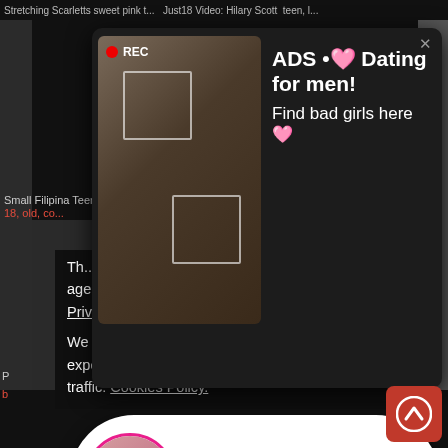Stretching Scarletts sweet pink t...  Just18 Video: Hilary Scott teen, l...
[Figure (screenshot): Dark-themed adult video website with thumbnails and two advertising overlays]
ADS • 💕 Dating for men! Find bad girls here 💕
Small Filipina Teen Rides Giant ...  Hottie Hippie Sucks On Glory H...
18, old, co...  ...ere, 18 y...
ADS Angel is typing ... 💕 (1) unread message
Th... using this site, you hereby verify that you are age 18 and older and agree to comply with all the Privacy Policy. We use cookies to provide you the best possible experience on our website and to monitor website traffic. Cookies Policy.